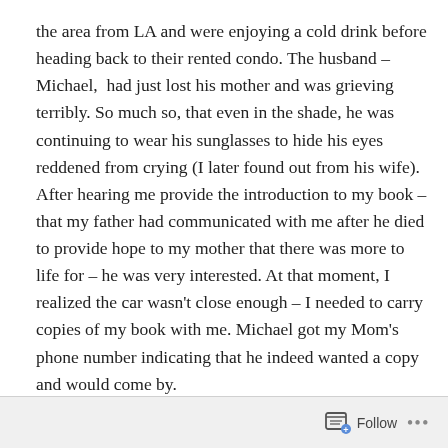the area from LA and were enjoying a cold drink before heading back to their rented condo. The husband – Michael,  had just lost his mother and was grieving terribly. So much so, that even in the shade, he was continuing to wear his sunglasses to hide his eyes reddened from crying (I later found out from his wife). After hearing me provide the introduction to my book – that my father had communicated with me after he died to provide hope to my mother that there was more to life for – he was very interested. At that moment, I realized the car wasn't close enough – I needed to carry copies of my book with me. Michael got my Mom's phone number indicating that he indeed wanted a copy and would come by.

Michael followed through and while I was walking the next
Follow